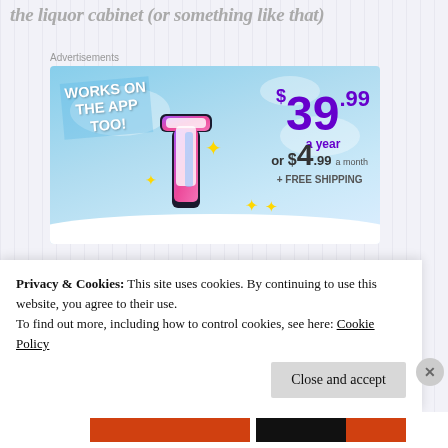the liquor cabinet (or something like that)
Advertisements
[Figure (illustration): Tumblr advertisement showing the Tumblr 't' logo with sparkles on a blue sky background. Text reads: WORKS ON THE APP TOO! $39.99 a year or $4.99 a month + FREE SHIPPING]
Privacy & Cookies: This site uses cookies. By continuing to use this website, you agree to their use.
To find out more, including how to control cookies, see here: Cookie Policy
Close and accept